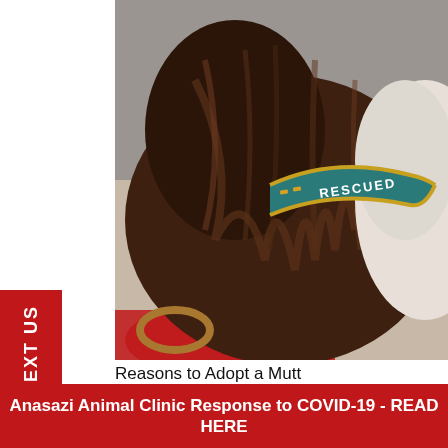[Figure (photo): Close-up photo of a dog's back and head showing brown/dark fur and a teal 'RESCUED' collar with yellow bone patterns and golden trim border. A red surface is partially visible below the dog.]
Reasons to Adopt a Mutt
by Anasazi Animal Clinic | Aug 9, 2017 | Anasazi News,
Anasazi Animal Clinic Response to COVID-19 - READ HERE